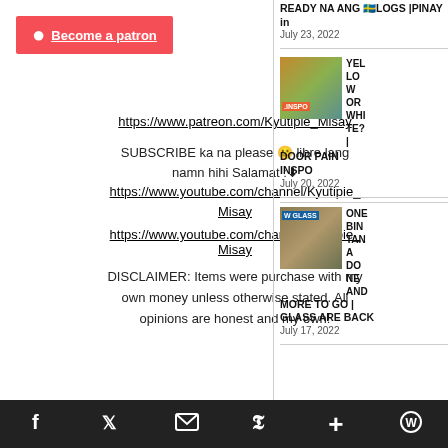[Figure (logo): Patreon 'Become a patron' button with red background, white circle logo, and underlined white text]
https://www.patreon.com/Kyutipie_Misay
SUBSCRIBE ka na please 🙂 libre lang namn hihi Salamat :⬇️ https://www.youtube.com/channel/Kyutipie_Misay
https://www.youtube.com/channel/Kyutipie_Misay
DISCLAIMER: Items were purchase with my own money unless otherwise stated. All opinions are honest and my own!
READY NA ANG 🇸🇪LOGS |PINAY in
July 23, 2022
[Figure (photo): Thumbnail image of yellow house/building with '.INSPO' text overlay]
YELLOW OR WHITE? | DOOR PAIN INSPO
July 20, 2022
[Figure (photo): Thumbnail image of glass window construction with 'W GLASS' text overlay]
ONE BINTANA DONE AND MORE TO GO | GLASS ARE BACK
July 17, 2022
Facebook Twitter Email Pinterest + WordPress social share icons